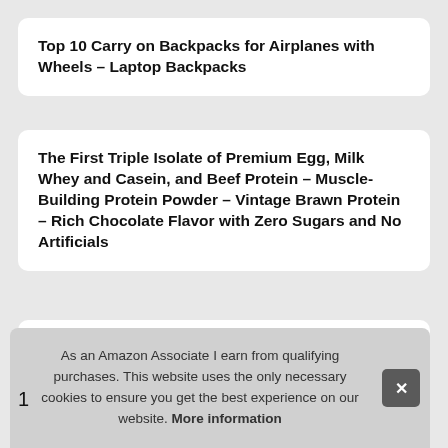Top 10 Carry on Backpacks for Airplanes with Wheels – Laptop Backpacks
The First Triple Isolate of Premium Egg, Milk Whey and Casein, and Beef Protein – Muscle-Building Protein Powder – Vintage Brawn Protein – Rich Chocolate Flavor with Zero Sugars and No Artificials
Top 10 Win 10 Tablet with detachable Keyboard – Computer Tablets
As an Amazon Associate I earn from qualifying purchases. This website uses the only necessary cookies to ensure you get the best experience on our website. More information